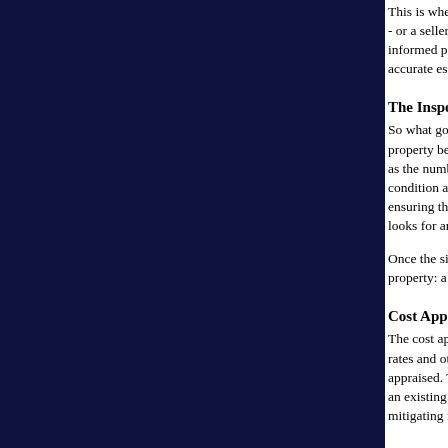This is where the appraisal comes in. An appraisal is - or a seller receive - for a parcel of real estate, where informed party, most people turn to a licensed, certifi accurate estimate of the true value of their property.
The Inspection
So what goes into a real estate appraisal? It all starts property being appraised to ascertain the true status o as the number of bedrooms, bathrooms, the location, condition a reasonable buyer would expect them to b ensuring the proper square footage and conveying th looks for any obvious features - or defects - that wou
Once the site has been inspected, an appraiser uses tv property: a cost approach, a sales comparison and, in
Cost Approach
The cost approach is the easiest to understand. The a rates and other factors to determine how much it wou appraised. This value often sets the upper limit on wh an existing property if you could spend less and build mitigating factors, such as location and amenities, th
Sales Comparison
Instead, appraisers rely on the sales comparison appr the neighborhoods in which they work. They underst area. They know the traffic patterns, the school zones determine which attributes of a property will make a recent sales in the vicinity and finds properties which